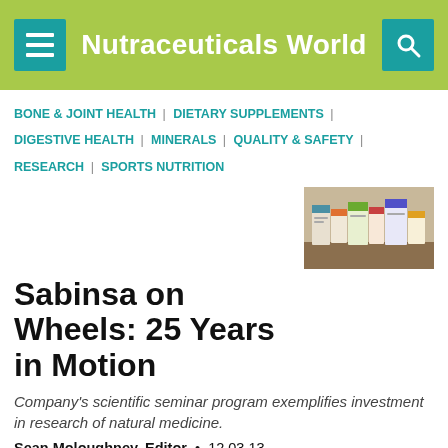Nutraceuticals World
BONE & JOINT HEALTH | DIETARY SUPPLEMENTS | DIGESTIVE HEALTH | MINERALS | QUALITY & SAFETY | RESEARCH | SPORTS NUTRITION
[Figure (photo): Photo of supplement/nutraceutical product boxes and packaging on a table]
Sabinsa on Wheels: 25 Years in Motion
Company's scientific seminar program exemplifies investment in research of natural medicine.
Sean Moloughney, Editor • 12.03.13
COSMECEUTICALS / NUTRICOSMETICS | HEALTHY AGING | NATURAL/ORGANIC | SKIN HEALTH | SUPPLIER NEWS